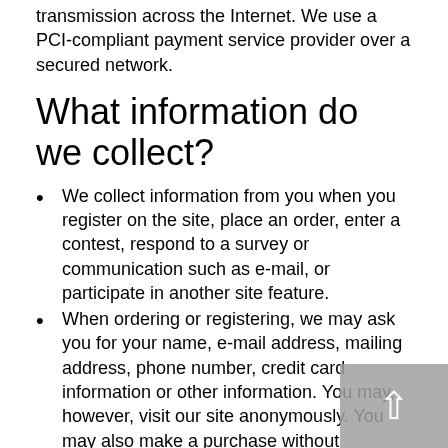transmission across the Internet. We use a PCI-compliant payment service provider over a secured network.
What information do we collect?
We collect information from you when you register on the site, place an order, enter a contest, respond to a survey or communication such as e-mail, or participate in another site feature.
When ordering or registering, we may ask you for your name, e-mail address, mailing address, phone number, credit card information or other information. You may, however, visit our site anonymously. You may also make a purchase without registering.
We also collect information about gift recipients so that we can fulfill the gift purchase. The information we collect about gift recipients is not used for marketing purposes.
Like many websites, we use "cookies" to enhance